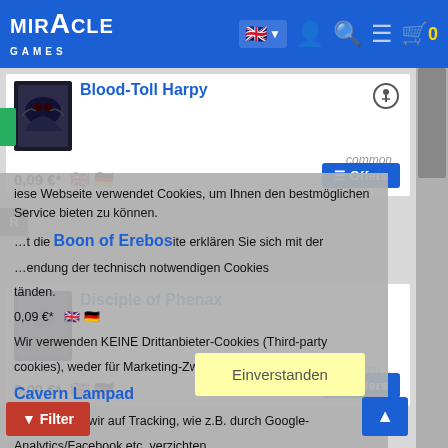Miracle Games — navigation header with language selector, user, search, menu, cart (0)
Blood-Toll Harpy — common — 0,09 €*
Boon of Erebos — common — 0,09 €*
Diese Webseite verwendet Cookies, um Ihnen den bestmöglichen Service bieten zu können. Indem Sie diese Webseite erklären Sie sich mit der Verwendung der technisch notwendigen Cookies einverstanden. Wir verwenden KEINE Drittanbieter-Cookies (Third-party cookies), weder für Marketing-Zwecke noch für statistische Zwecke, da wir auf Tracking, wie z.B. durch Google-Analytics/Facebook etc. verzichten. Mehr Informationen
Cavern Lampad — common — 0,09 €*
Disciple of Phenax — common — 0,09 €*